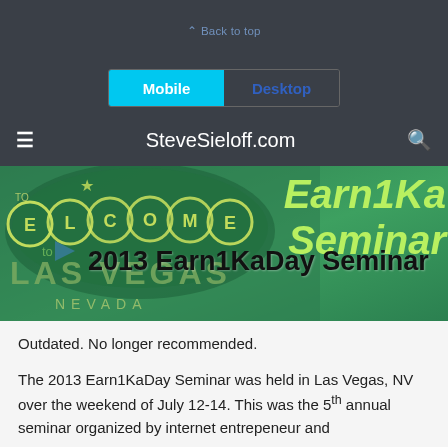^ Back to top
[Figure (screenshot): Mobile/Desktop tab switcher with 'Mobile' tab active (cyan) and 'Desktop' tab inactive (dark background, blue text)]
SteveSieloff.com
[Figure (photo): Banner image showing Las Vegas Welcome sign on green background with '2013 Earn1KaDay Seminar' text overlay and 'Earn1Ka Seminar' text on the right side in lime green]
Outdated. No longer recommended.
The 2013 Earn1KaDay Seminar was held in Las Vegas, NV over the weekend of July 12-14. This was the 5th annual seminar organized by internet entrepeneur and